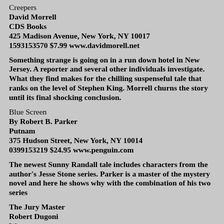Creepers
David Morrell
CDS Books
425 Madison Avenue, New York, NY 10017
1593153570 $7.99 www.davidmorell.net
Something strange is going on in a run down hotel in New Jersey. A reporter and several other individuals investigate. What they find makes for the chilling suspenseful tale that ranks on the level of Stephen King. Morrell churns the story until its final shocking conclusion.
Blue Screen
By Robert B. Parker
Putnam
375 Hudson Street, New York, NY 10014
0399153219 $24.95 www.penguin.com
The newest Sunny Randall tale includes characters from the author's Jesse Stone series. Parker is a master of the mystery novel and here he shows why with the combination of his two series
The Jury Master
Robert Dugoni
W...